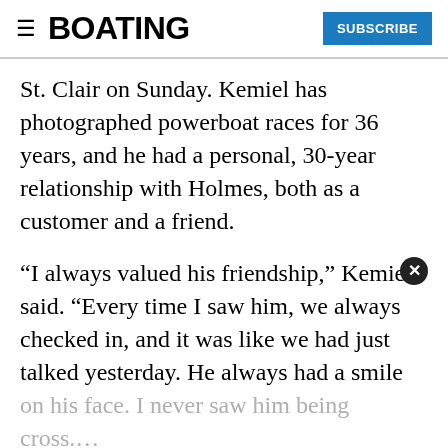BOATING | SUBSCRIBE
St. Clair on Sunday. Kemiel has photographed powerboat races for 36 years, and he had a personal, 30-year relationship with Holmes, both as a customer and a friend.
“I always valued his friendship,” Kemiel said. “Every time I saw him, we always checked in, and it was like we had just talked yesterday. He always had a smile on his face. I never saw him being cross.... He was definitely a true benefit to the sport of offshore powerboat racing. He’s